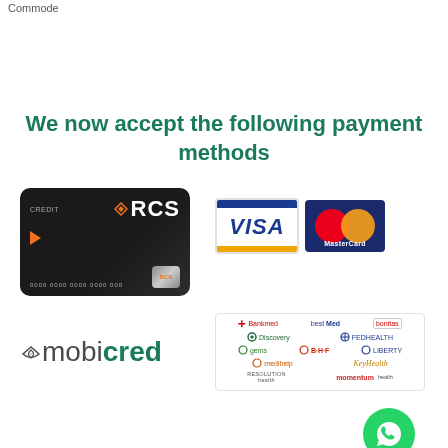Commode
We now accept the following payment methods
[Figure (illustration): RCS Credit card (dark background, orange logo), VISA card logo, MasterCard logo, mobicred logo, and medical aid logos including Bankmed, bestMed, bonitas, Discovery, Fedhealth, gems, BHF, Liberty, medihelp, KeyHealth, Resolution Health, momentum health. WhatsApp contact button in bottom right.]